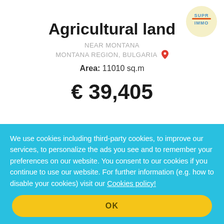[Figure (logo): SuprImmo logo — yellow circular badge with blue and orange text]
Agricultural land
NEAR MONTANA
MONTANA REGION, BULGARIA
Area: 11010 sq.m
€ 39,405
We use cookies including third-party cookies, to improve our services, to personalize the ads you see and to remember your preferences on our website. You consent to our cookies if you continue to use our website. For further information (e.g. how to disable your cookies) visit our Cookies policy!
OK